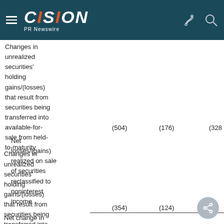CISION PR Newswire
|  |  |  |  |
| --- | --- | --- | --- |
| Changes in unrealized securities' holding gains/(losses) that result from securities being transferred into available-for-sale from held-to-maturity | (504) | (176) | (328) |
| Net losses/(gains) realized on sale of securities reclassified to noninterest income | (354) | (124) |  |
| Net change in |  |  |  |